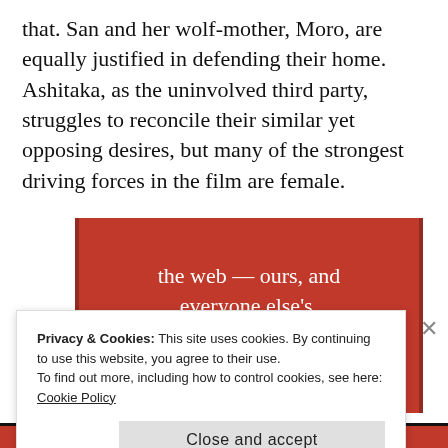that. San and her wolf-mother, Moro, are equally justified in defending their home. Ashitaka, as the uninvolved third party, struggles to reconcile their similar yet opposing desires, but many of the strongest driving forces in the film are female.
[Figure (other): Red advertisement banner with white serif text reading 'the web — ours, and everyone else's.' and a black 'Start reading' button]
Privacy & Cookies: This site uses cookies. By continuing to use this website, you agree to their use.
To find out more, including how to control cookies, see here: Cookie Policy
Close and accept